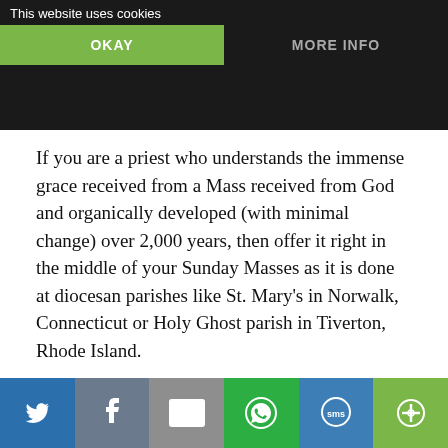This website uses cookies | OKAY | MORE INFO
attendees by only scheduling infrequent Masses and at inconvenient times.
If you are a priest who understands the immense grace received from a Mass received from God and organically developed (with minimal change) over 2,000 years, then offer it right in the middle of your Sunday Masses as it is done at diocesan parishes like St. Mary's in Norwalk, Connecticut or Holy Ghost parish in Tiverton, Rhode Island.
Please let us see if the Novus Ordo attending Catholics at your parish embrace the traditional Catholic Mass. Then what you will have is neither neo-Catholic nor
Social share icons: Twitter, Facebook, Email, WhatsApp, SMS, More